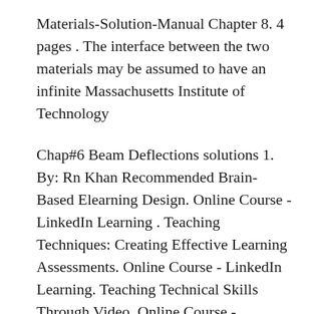Materials-Solution-Manual Chapter 8. 4 pages . The interface between the two materials may be assumed to have an infinite Massachusetts Institute of Technology
Chap#6 Beam Deflections solutions 1. By: Rn Khan Recommended Brain-Based Elearning Design. Online Course - LinkedIn Learning . Teaching Techniques: Creating Effective Learning Assessments. Online Course - LinkedIn Learning. Teaching Technical Skills Through Video. Online Course - LinkedIn Learning. 6 shearing stresses- Mechanics of Materials - 4th - Beer Nhan Tran. Mohrs circle Roshan Khadase Chap#6 Beam Deflections solutions 1. By: Rn Khan Recommended Brain-Based Elearning